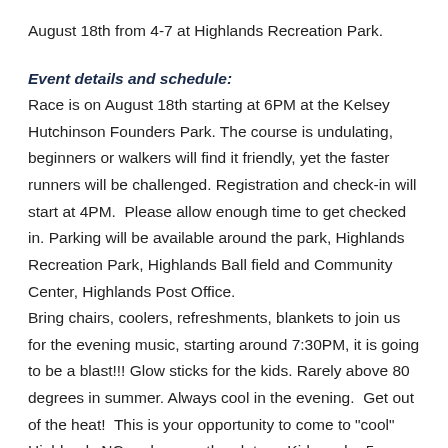August 18th from 4-7 at Highlands Recreation Park.
Event details and schedule:
Race is on August 18th starting at 6PM at the Kelsey Hutchinson Founders Park. The course is undulating, beginners or walkers will find it friendly, yet the faster runners will be challenged. Registration and check-in will start at 4PM.  Please allow enough time to get checked in. Parking will be available around the park, Highlands Recreation Park, Highlands Ball field and Community Center, Highlands Post Office.
Bring chairs, coolers, refreshments, blankets to join us for the evening music, starting around 7:30PM, it is going to be a blast!!! Glow sticks for the kids. Rarely above 80 degrees in summer. Always cool in the evening.  Get out of the heat!  This is your opportunity to come to "cool" Highlands NC and run on the plateau.Kids under 5 run for free.Kids 5 to 9 $10.00. Day of race